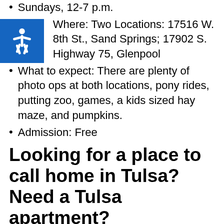Sundays, 12-7 p.m.
Where: Two Locations: 17516 W. 8th St., Sand Springs; 17902 S. Highway 75, Glenpool
What to expect: There are plenty of photo ops at both locations, pony rides, putting zoo, games, a kids sized hay maze, and pumpkins.
Admission: Free
Looking for a place to call home in Tulsa? Need a Tulsa apartment?
The Place at Quail Hollow is the perfect choice for anyone looking for a Tulsa apartment or pet friendly apartment. If you have pets you can't